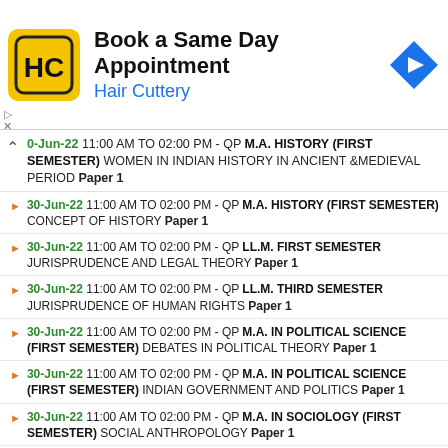[Figure (screenshot): Advertisement banner for Hair Cuttery - Book a Same Day Appointment]
0-Jun-22 11:00 AM TO 02:00 PM - QP M.A. HISTORY (FIRST SEMESTER) WOMEN IN INDIAN HISTORY IN ANCIENT &MEDIEVAL PERIOD Paper 1
30-Jun-22 11:00 AM TO 02:00 PM - QP M.A. HISTORY (FIRST SEMESTER) CONCEPT OF HISTORY Paper 1
30-Jun-22 11:00 AM TO 02:00 PM - QP LL.M. FIRST SEMESTER JURISPRUDENCE AND LEGAL THEORY Paper 1
30-Jun-22 11:00 AM TO 02:00 PM - QP LL.M. THIRD SEMESTER JURISPRUDENCE OF HUMAN RIGHTS Paper 1
30-Jun-22 11:00 AM TO 02:00 PM - QP M.A. IN POLITICAL SCIENCE (FIRST SEMESTER) DEBATES IN POLITICAL THEORY Paper 1
30-Jun-22 11:00 AM TO 02:00 PM - QP M.A. IN POLITICAL SCIENCE (FIRST SEMESTER) INDIAN GOVERNMENT AND POLITICS Paper 1
30-Jun-22 11:00 AM TO 02:00 PM - QP M.A. IN SOCIOLOGY (FIRST SEMESTER) SOCIAL ANTHROPOLOGY Paper 1
30-Jun-22 11:00 AM TO 02:00 PM - QP M.A. IN SOCIOLOGY (FIRST SEMESTER) ...